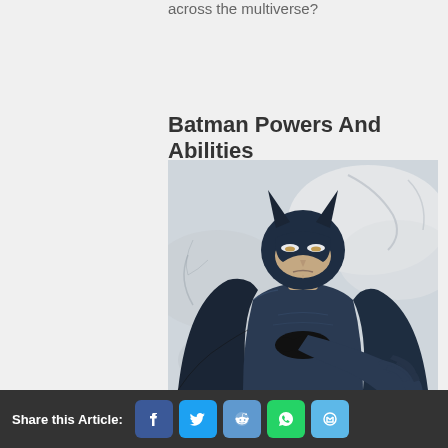across the multiverse?
Batman Powers And Abilities
[Figure (illustration): Comic book illustration of Batman in his dark blue and grey suit with bat symbol on chest, looking stern, reaching one hand toward viewer, with swirling grey/white smoke or water background]
Share this Article: [Facebook] [Twitter] [Reddit] [WhatsApp] [Email]